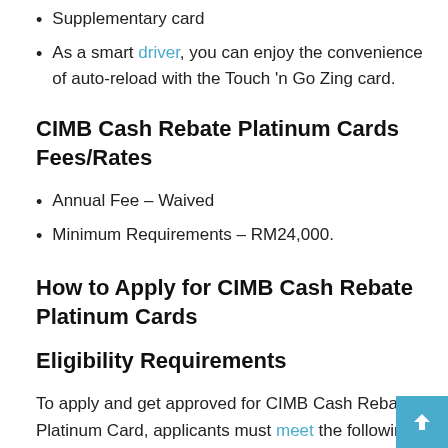Supplementary card
As a smart driver, you can enjoy the convenience of auto-reload with the Touch 'n Go Zing card.
CIMB Cash Rebate Platinum Cards Fees/Rates
Annual Fee – Waived
Minimum Requirements – RM24,000.
How to Apply for CIMB Cash Rebate Platinum Cards
Eligibility Requirements
To apply and get approved for CIMB Cash Rebate Platinum Card, applicants must meet the following